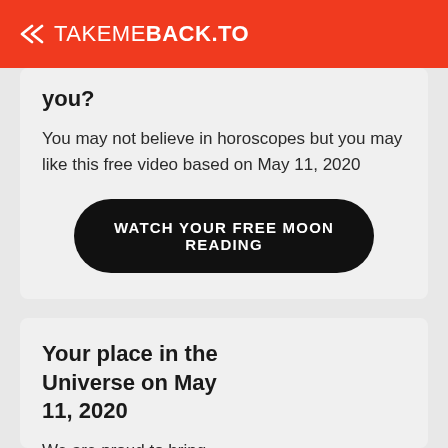TAKEMEBACK.TO
you?
You may not believe in horoscopes but you may like this free video based on May 11, 2020
WATCH YOUR FREE MOON READING
Your place in the Universe on May 11, 2020
We are proud to bring you the most beautiful and accurate map of